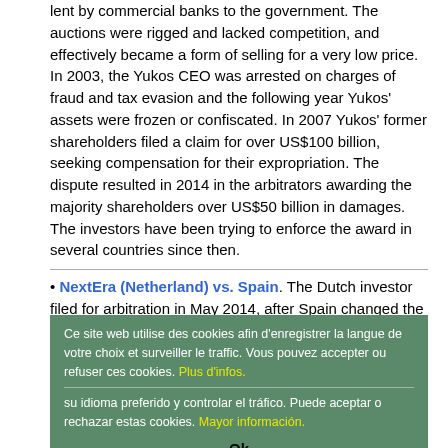lent by commercial banks to the government. The auctions were rigged and lacked competition, and effectively became a form of selling for a very low price. In 2003, the Yukos CEO was arrested on charges of fraud and tax evasion and the following year Yukos' assets were frozen or confiscated. In 2007 Yukos' former shareholders filed a claim for over US$100 billion, seeking compensation for their expropriation. The dispute resulted in 2014 in the arbitrators awarding the majority shareholders over US$50 billion in damages. The investors have been trying to enforce the award in several countries since then.
NextEra (Netherland) vs. Spain. The Dutch investor filed for arbitration in May 2014, after Spain changed the regulatory framework applicable to its investment, namely the construction of two solar power plants. NextEra claimed that Spain abolished the long term premium and tariff system, negatively affecting the profitability of the project. However, Spain alleged that NextEra should have been aware that changes could be made to the regulatory regime. In May 2019, the investor was awarded around €290 million. Spain filed for annulment in October 2019.